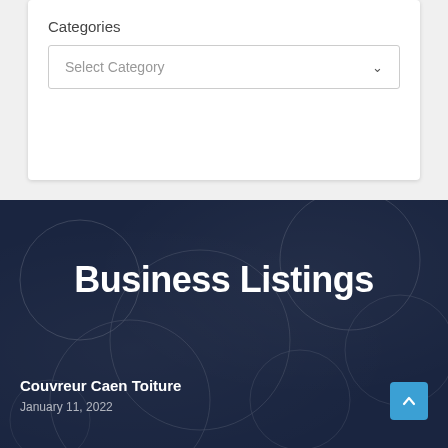Categories
Select Category
Business Listings
Couvreur Caen Toiture
January 11, 2022